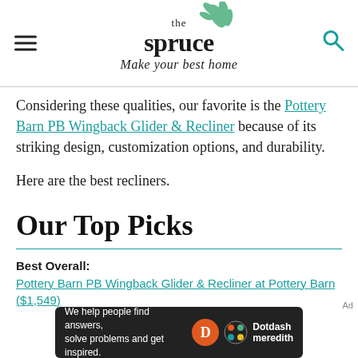the spruce — Make your best home
Considering these qualities, our favorite is the Pottery Barn PB Wingback Glider & Recliner because of its striking design, customization options, and durability.
Here are the best recliners.
Our Top Picks
Best Overall: Pottery Barn PB Wingback Glider & Recliner at Pottery Barn ($1,549)
[Figure (other): Dotdash Meredith advertisement banner: 'We help people find answers, solve problems and get inspired.']